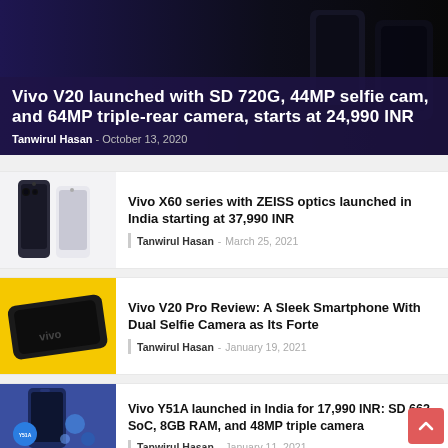Vivo V20 launched with SD 720G, 44MP selfie cam, and 64MP triple-rear camera, starts at 24,990 INR
Tanwirul Hasan - October 13, 2020
Vivo X60 series with ZEISS optics launched in India starting at 37,990 INR
Tanwirul Hasan - March 25, 2021
Vivo V20 Pro Review: A Sleek Smartphone With Dual Selfie Camera as Its Forte
Tanwirul Hasan - January 19, 2021
Vivo Y51A launched in India for 17,990 INR: SD 662 SoC, 8GB RAM, and 48MP triple camera
Tanwirul Hasan - January 11, 2021
Vivo V20 launched with SD 720G, 44MP selfie